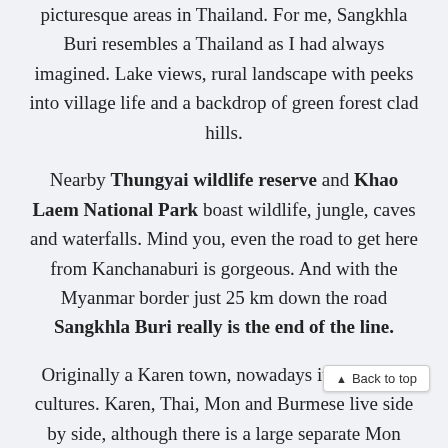picturesque areas in Thailand. For me, Sangkhla Buri resembles a Thailand as I had always imagined. Lake views, rural landscape with peeks into village life and a backdrop of green forest clad hills.
Nearby Thungyai wildlife reserve and Khao Laem National Park boast wildlife, jungle, caves and waterfalls. Mind you, even the road to get here from Kanchanaburi is gorgeous. And with the Myanmar border just 25 km down the road Sangkhla Buri really is the end of the line.
Originally a Karen town, nowadays it's a mix of cultures. Karen, Thai, Mon and Burmese live side by side, although there is a large separate Mon settlement (Wang Kha) on the other side of the wooden bridge. Due to its close proximity to the